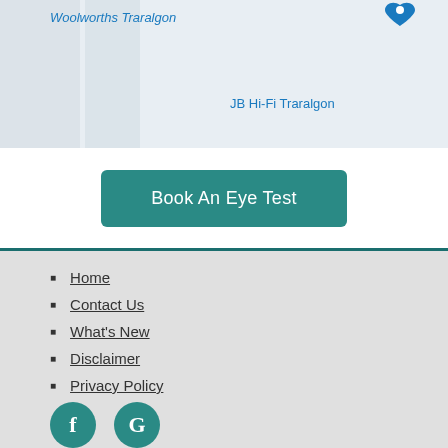[Figure (map): Google Maps screenshot showing Traralgon area with Woolworths Traralgon, JB Hi-Fi Traralgon, Seymour St, Newman label and road layout]
Book An Eye Test
Home
Contact Us
What's New
Disclaimer
Privacy Policy
[Figure (illustration): Social media icons: Facebook (f) and Google (G) in teal circles]